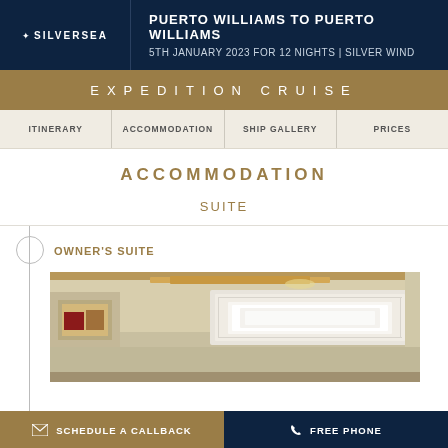SILVERSEA | PUERTO WILLIAMS TO PUERTO WILLIAMS | 5TH JANUARY 2023 FOR 12 NIGHTS | SILVER WIND
EXPEDITION CRUISE
ITINERARY | ACCOMMODATION | SHIP GALLERY | PRICES
ACCOMMODATION
SUITE
OWNER'S SUITE
[Figure (photo): Interior photo of a luxury cruise ship suite showing ornate ceiling panels with wood accents and white decorative moldings]
SCHEDULE A CALLBACK | FREE PHONE